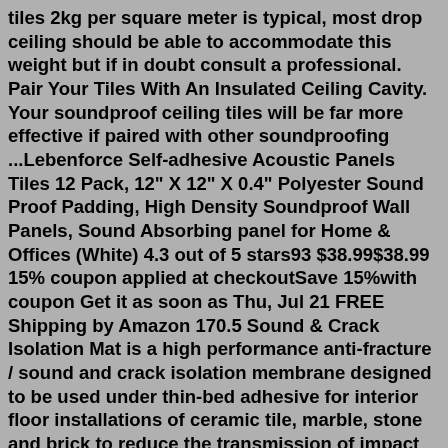tiles 2kg per square meter is typical, most drop ceiling should be able to accommodate this weight but if in doubt consult a professional. Pair Your Tiles With An Insulated Ceiling Cavity. Your soundproof ceiling tiles will be far more effective if paired with other soundproofing ...Lebenforce Self-adhesive Acoustic Panels Tiles 12 Pack, 12" X 12" X 0.4" Polyester Sound Proof Padding, High Density Soundproof Wall Panels, Sound Absorbing panel for Home & Offices (White) 4.3 out of 5 stars93 $38.99$38.99 15% coupon applied at checkoutSave 15%with coupon Get it as soon as Thu, Jul 21 FREE Shipping by Amazon 170.5 Sound & Crack Isolation Mat is a high performance anti-fracture / sound and crack isolation membrane designed to be used under thin-bed adhesive for interior floor installations of ceramic tile, marble, stone and brick to reduce the transmission of impact noise and help provide soundproofing between floors and isolate cracks in the substrate.The first step in any soundproofing project is to identify what you